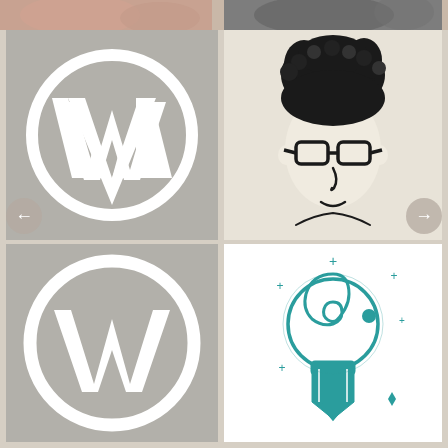[Figure (photo): Partial view of top strip showing cropped photos of people]
[Figure (logo): WordPress logo - white W inside white circle on gray background]
[Figure (illustration): Hand-drawn cartoon face of a person with curly hair and glasses on beige background]
[Figure (logo): WordPress logo - white W inside white circle on gray background]
[Figure (logo): Teal creative lightbulb/pencil spiral logo with sparkle stars on white background]